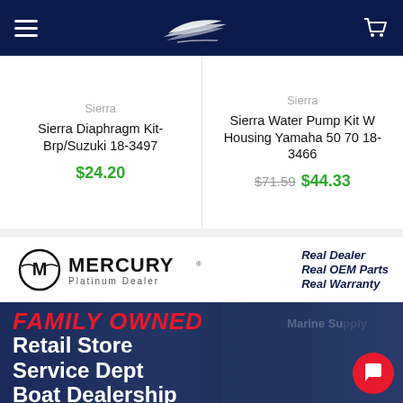Navigation bar with hamburger menu, boat logo, and cart icon
Sierra
Sierra Diaphragm Kit-Brp/Suzuki 18-3497
$24.20
Sierra
Sierra Water Pump Kit W Housing Yamaha 50 70 18-3466
$71.59  $44.33
[Figure (logo): Mercury Platinum Dealer logo with circular M emblem and MERCURY text]
Real Dealer
Real OEM Parts
Real Warranty
[Figure (photo): Family Owned banner with dark blue background showing retail store, service dept, boat dealership text in red and white over a photo of a marine supply store]